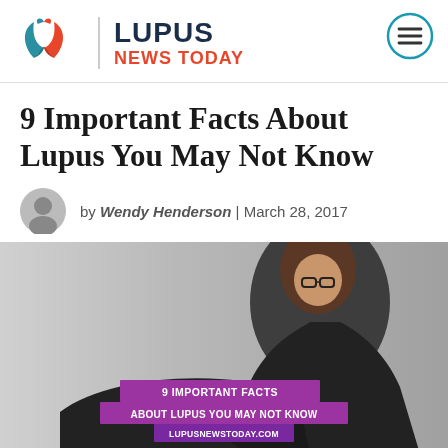Lupus News Today
9 Important Facts About Lupus You May Not Know
by Wendy Henderson | March 28, 2017
[Figure (photo): Woman in black blazer with curly hair and glasses, holding her back in pain, with text overlay reading '9 IMPORTANT FACTS ABOUT LUPUS YOU MAY NOT KNOW' and 'LUPUSNEWSTODAY.COM' on purple banner]